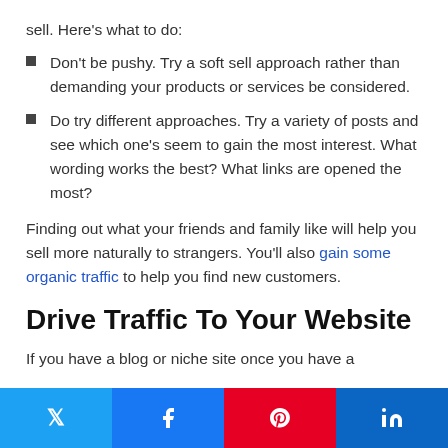sell. Here's what to do:
Don't be pushy. Try a soft sell approach rather than demanding your products or services be considered.
Do try different approaches. Try a variety of posts and see which one's seem to gain the most interest. What wording works the best? What links are opened the most?
Finding out what your friends and family like will help you sell more naturally to strangers. You'll also gain some organic traffic to help you find new customers.
Drive Traffic To Your Website
If you have a blog or niche site once you have a
Twitter | Facebook | Pinterest | LinkedIn